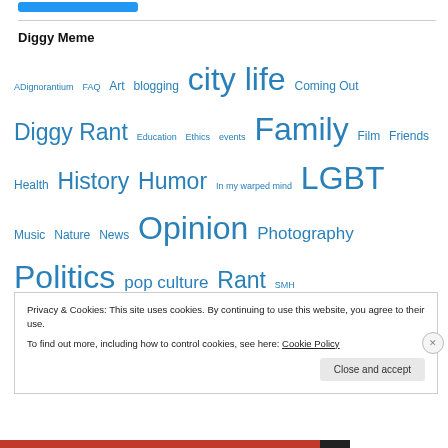[Figure (other): Blue button at top of page]
Diggy Meme
ADignorantium FAQ Art blogging city life Coming Out Diggy Rant Education Ethics events Family Film Friends Health History Humor In my warped mind LGBT Music Nature News Opinion Photography Politics pop culture Rant SMH
Privacy & Cookies: This site uses cookies. By continuing to use this website, you agree to their use.
To find out more, including how to control cookies, see here: Cookie Policy
Close and accept